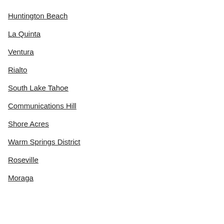Huntington Beach
La Quinta
Ventura
Rialto
South Lake Tahoe
Communications Hill
Shore Acres
Warm Springs District
Roseville
Moraga